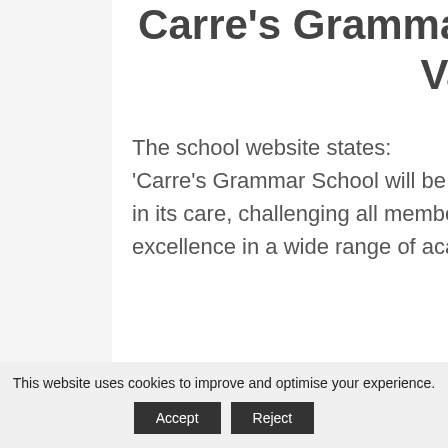Carre's Grammar School - Vision & Values
The school website states: 'Carre's Grammar School will be the best it can be for the young people in its care, challenging all members of the school community to achieve excellence in a wide range of academic,
This website uses cookies to improve and optimise your experience. Accept Reject